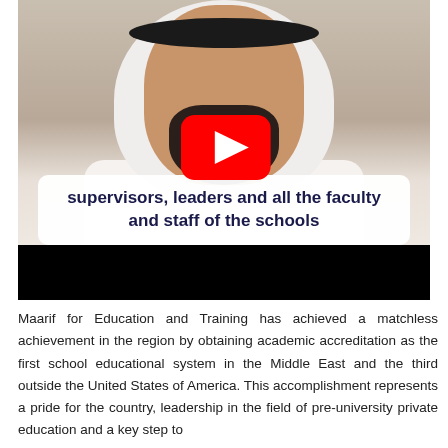[Figure (screenshot): YouTube video thumbnail showing a man in white keffiyeh and thobe with a subtitle overlay reading 'supervisors, leaders and all the faculty and staff of the schools'. A red YouTube play button is visible in the center. The bottom of the video has a black bar.]
Maarif for Education and Training has achieved a matchless achievement in the region by obtaining academic accreditation as the first school educational system in the Middle East and the third outside the United States of America. This accomplishment represents a pride for the country, leadership in the field of pre-university private education and a key step to